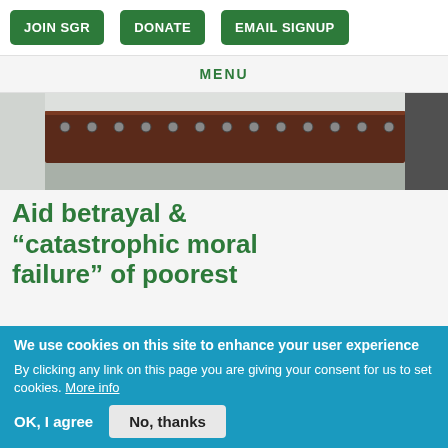JOIN SGR | DONATE | EMAIL SIGNUP
MENU
[Figure (photo): Close-up photo of a dark brown riveted metal beam or bridge structure against a pale background]
Aid betrayal & “catastrophic moral failure” of poorest
We use cookies on this site to enhance your user experience
By clicking any link on this page you are giving your consent for us to set cookies. More info
OK, I agree
No, thanks